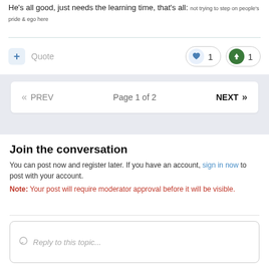He's all good, just needs the learning time, that's all: not trying to step on people's pride & ego here
+ Quote  ♥ 1  ↑ 1
« PREV   Page 1 of 2   NEXT »
Join the conversation
You can post now and register later. If you have an account, sign in now to post with your account.
Note: Your post will require moderator approval before it will be visible.
Reply to this topic...